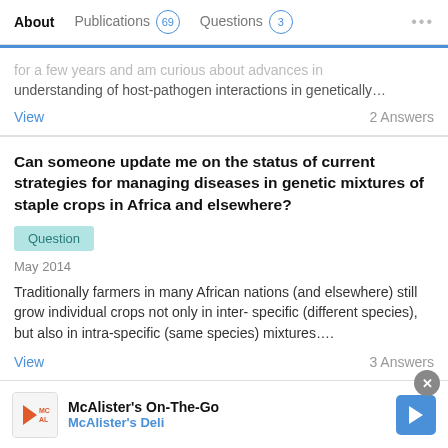About | Publications 69 | Questions 3 | ...
...for a few years and am curious about advances in understanding of host-pathogen interactions in genetically…
View   2 Answers
Can someone update me on the status of current strategies for managing diseases in genetic mixtures of staple crops in Africa and elsewhere?
Question
May 2014
Traditionally farmers in many African nations (and elsewhere) still grow individual crops not only in inter- specific (different species), but also in intra-specific (same species) mixtures….
View   3 Answers
What molecular method would be best to distinguish
Advertisement
McAlister's On-The-Go  McAlister's Deli